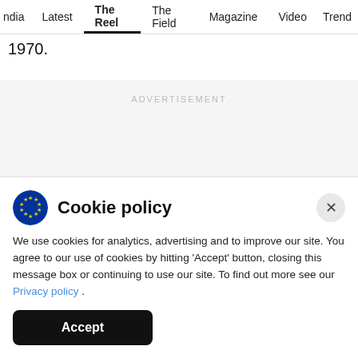ndia  Latest  The Reel  The Field  Magazine  Video  Trend
1970.
ADVERTISEMENT
AD
Cookie policy
We use cookies for analytics, advertising and to improve our site. You agree to our use of cookies by hitting 'Accept' button, closing this message box or continuing to use our site. To find out more see our Privacy policy .
Accept